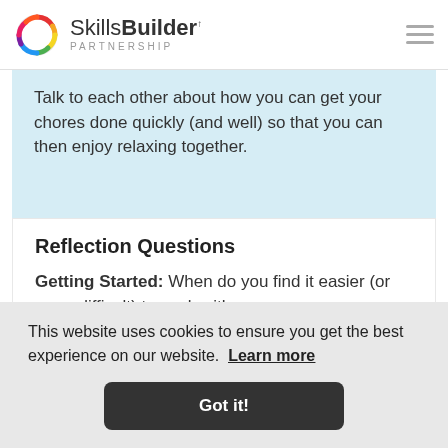Skills Builder PARTNERSHIP
Talk to each other about how you can get your chores done quickly (and well) so that you can then enjoy relaxing together.
Reflection Questions
Getting Started: When do you find it easier (or more difficult) to work with
This website uses cookies to ensure you get the best experience on our website. Learn more
Got it!
conflict? How can you avoid this when